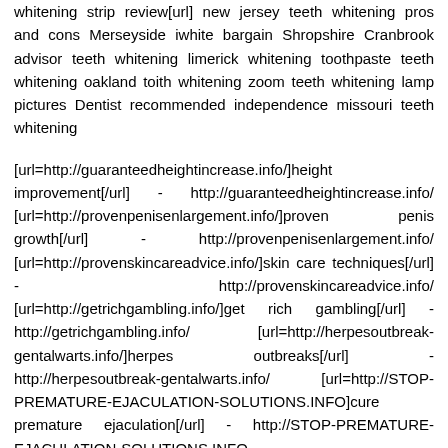whitening strip review[url] new jersey teeth whitening pros and cons Merseyside iwhite bargain Shropshire Cranbrook advisor teeth whitening limerick whitening toothpaste teeth whitening oakland toith whitening zoom teeth whitening lamp pictures Dentist recommended independence missouri teeth whitening
[url=http://guaranteedheightincrease.info/]height improvement[/url] - http://guaranteedheightincrease.info/ [url=http://provenpenisenlargement.info/]proven penis growth[/url] - http://provenpenisenlargement.info/ [url=http://provenskincareadvice.info/]skin care techniques[/url] - http://provenskincareadvice.info/ [url=http://getrichgambling.info/]get rich gambling[/url] - http://getrichgambling.info/ [url=http://herpesoutbreak-gentalwarts.info/]herpes outbreaks[/url] - http://herpesoutbreak-gentalwarts.info/ [url=http://STOP-PREMATURE-EJACULATION-SOLUTIONS.INFO]cure premature ejaculation[/url] - http://STOP-PREMATURE-EJACULATION-SOLUTIONS.INFO [url=http://3GMOBILEPHONESFORSALE.INFO]used mobile phones for sale[/url] -